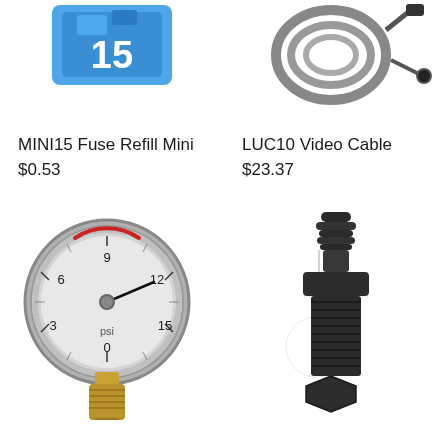[Figure (photo): Blue mini blade fuse product photo, partially cropped at top]
[Figure (photo): Video cable coil with connectors, partially cropped at top]
MINI15 Fuse Refill Mini
$0.53
LUC10 Video Cable
$23.37
[Figure (photo): Pressure gauge showing 0-15 psi with brass fitting, with numbers 3, 6, 9, 12, 15 and psi label]
[Figure (photo): Black plastic barbed fitting/hose connector with threaded base]